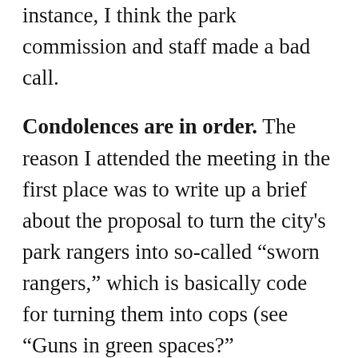I have no dog in the fight, but in this instance, I think the park commission and staff made a bad call.
Condolences are in order. The reason I attended the meeting in the first place was to write up a brief about the proposal to turn the city's park rangers into so-called “sworn rangers,” which is basically code for turning them into cops (see “Guns in green spaces?” Downstroke, June 29).
Not a single member of the community spoke in favor of that plan, and the